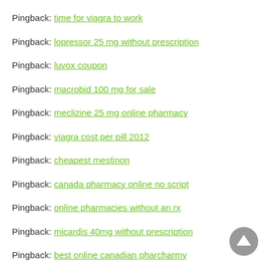Pingback: time for viagra to work
Pingback: lopressor 25 mg without prescription
Pingback: luvox coupon
Pingback: macrobid 100 mg for sale
Pingback: meclizine 25 mg online pharmacy
Pingback: viagra cost per pill 2012
Pingback: cheapest mestinon
Pingback: canada pharmacy online no script
Pingback: online pharmacies without an rx
Pingback: micardis 40mg without prescription
Pingback: best online canadian pharcharmy
Pingback: cheap mobic